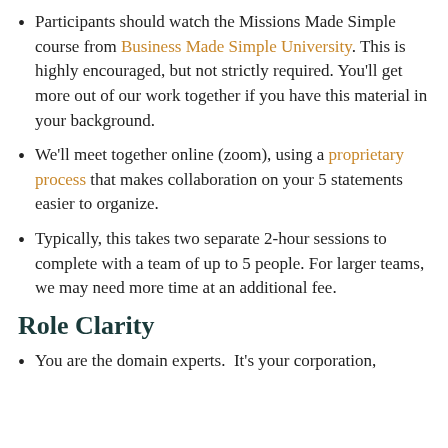Participants should watch the Missions Made Simple course from Business Made Simple University. This is highly encouraged, but not strictly required. You'll get more out of our work together if you have this material in your background.
We'll meet together online (zoom), using a proprietary process that makes collaboration on your 5 statements easier to organize.
Typically, this takes two separate 2-hour sessions to complete with a team of up to 5 people. For larger teams, we may need more time at an additional fee.
Role Clarity
You are the domain experts.  It's your corporation,